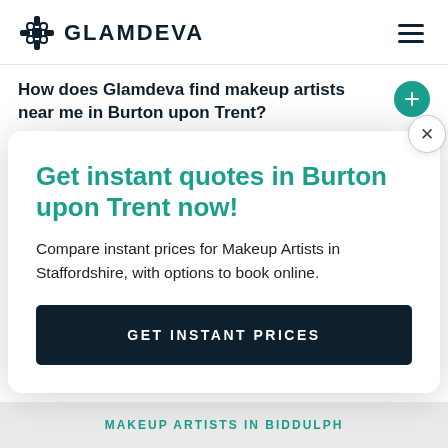GLAMDEVA
How does Glamdeva find makeup artists near me in Burton upon Trent?
Is
C
Get instant quotes in Burton upon Trent now!
Compare instant prices for Makeup Artists in Staffordshire, with options to book online.
GET INSTANT PRICES
C
T
MAKEUP ARTISTS IN BIDDULPH